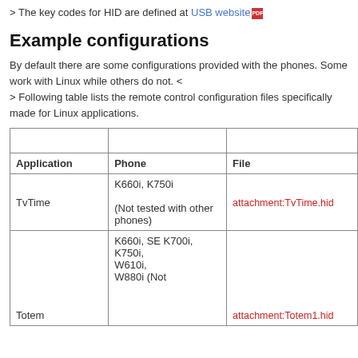> The key codes for HID are defined at USB website [PDF icon]
Example configurations
By default there are some configurations provided with the phones. Some work with Linux while others do not. <
> Following table lists the remote control configuration files specifically made for Linux applications.
| Application | Phone | File |
| --- | --- | --- |
| TvTime | K660i, K750i (Not tested with other phones) | attachment:TvTime.hid |
| Totem | K660i, SE K700i, K750i, W610i, W880i (Not ... | attachment:Totem1.hid |